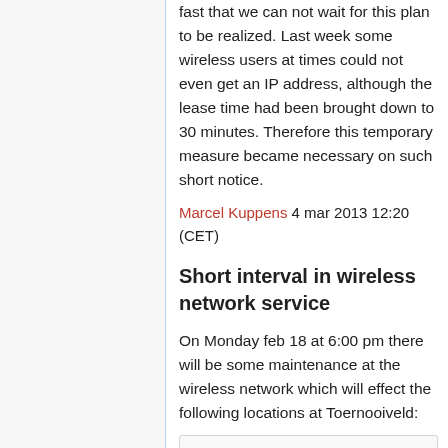fast that we can not wait for this plan to be realized. Last week some wireless users at times could not even get an IP address, although the lease time had been brought down to 30 minutes. Therefore this temporary measure became necessary on such short notice.
Marcel Kuppens 4 mar 2013 12:20 (CET)
Short interval in wireless network service
On Monday feb 18 at 6:00 pm there will be some maintenance at the wireless network which will effect the following locations at Toernooiveld:
FNWI cellar A1
FEL